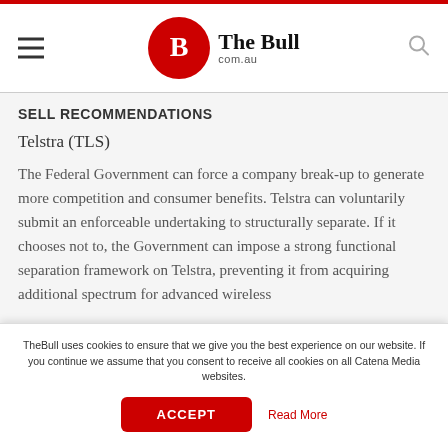The Bull com.au
SELL RECOMMENDATIONS
Telstra (TLS)
The Federal Government can force a company break-up to generate more competition and consumer benefits. Telstra can voluntarily submit an enforceable undertaking to structurally separate. If it chooses not to, the Government can impose a strong functional separation framework on Telstra, preventing it from acquiring additional spectrum for advanced wireless
TheBull uses cookies to ensure that we give you the best experience on our website. If you continue we assume that you consent to receive all cookies on all Catena Media websites.